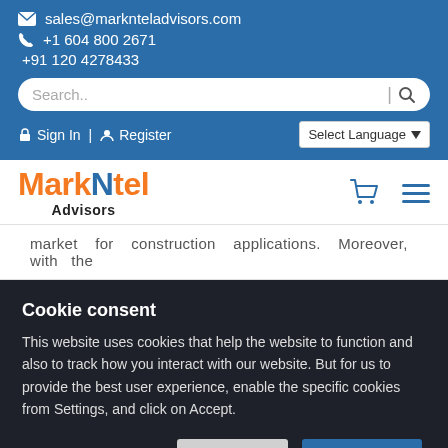sales@marknteladvisors.com  +1 604 800 2671  +91 120 4278433
Search..
Sign In | Register  Select Language
[Figure (logo): MarkNtel Advisors logo with orange and blue text]
market for construction applications. Moreover, with the
Cookie consent
This website uses cookies that help the website to function and also to track how you interact with our website. But for us to provide the best user experience, enable the specific cookies from Settings, and click on Accept.
Cookies Setting  Reject All  Accept All